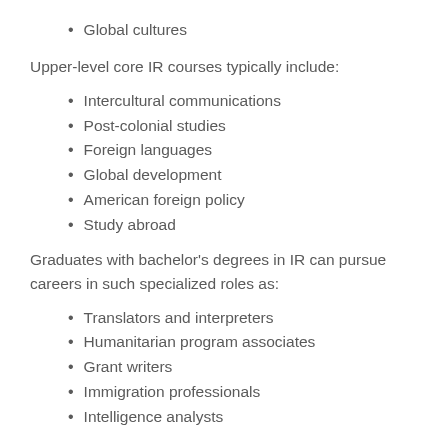Global cultures
Upper-level core IR courses typically include:
Intercultural communications
Post-colonial studies
Foreign languages
Global development
American foreign policy
Study abroad
Graduates with bachelor's degrees in IR can pursue careers in such specialized roles as:
Translators and interpreters
Humanitarian program associates
Grant writers
Immigration professionals
Intelligence analysts